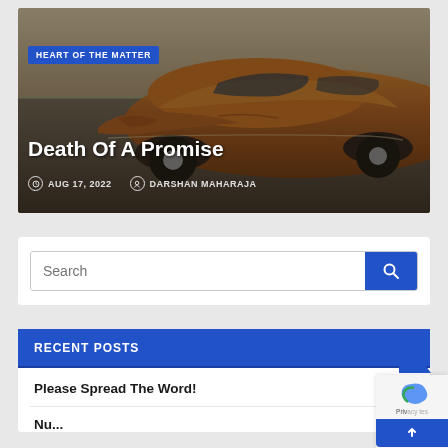[Figure (photo): Rusted vintage car (1950s era) in a field with cotton crops in background, photographed at dusk/sunset giving a moody tone. Overlaid with article info.]
Death Of A Promise
HEART OF THE MATTER
AUG 17, 2022  DARSHAN MAHARAJA
Search
RECENT POSTS
Please Spread The Word!